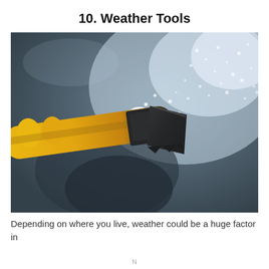10. Weather Tools
[Figure (photo): Close-up photo of a yellow and black ice scraper scraping snow and ice off a car windshield. The scraper blade is pushing white snow/ice crystals across the dark frosted glass surface.]
Depending on where you live, weather could be a huge factor in